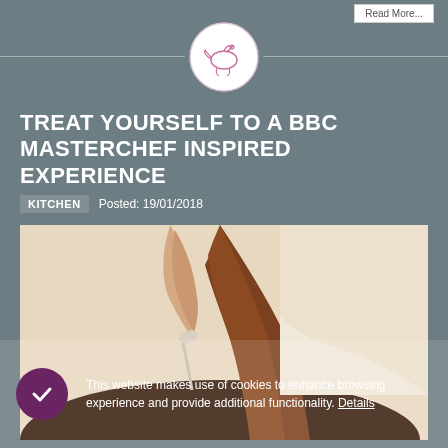Read more...
[Figure (logo): Circular logo with illustrated bird/hummingbird outline in pink/mauve on white background]
TREAT YOURSELF TO A BBC MASTERCHEF INSPIRED EXPERIENCE
KITCHEN   Posted: 19/01/2018
[Figure (photo): Close-up photo of someone pouring or spreading chocolate sauce/ganache from a spoon or spatula into a white dish, warm tones]
This website makes use of cookies to enhance browsing experience and provide additional functionality. Details